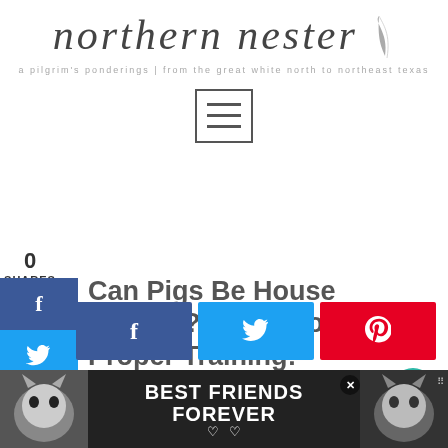northern nester — a pilgrim's ponderings | from the great white north to northeast Texas
[Figure (other): Hamburger menu icon — three horizontal lines inside a square border]
0
SHARES
[Figure (other): Social media sidebar with Facebook (f), Twitter (bird), and Pinterest (P) icons in colored boxes]
Can Pigs Be House Trained? Teach Your Pig Proper Training!
Save for later!
[Figure (other): Row of three social share buttons: Facebook (dark blue), Twitter (light blue), Pinterest (red) with respective icons]
[Figure (other): Floating action buttons on right: teal heart button (1), and share button labeled SHA]
[Figure (other): Advertisement banner: Best Friends Forever with cat images on left and right, close button X, and brand logo]